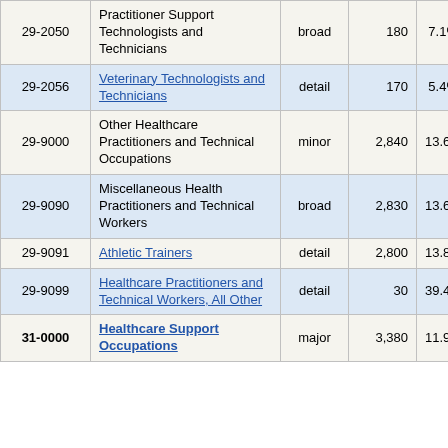| Code | Occupation | Type | Value | Percent |
| --- | --- | --- | --- | --- |
| 29-2050 | Practitioner Support Technologists and Technicians | broad | 180 | 7.1% |
| 29-2056 | Veterinary Technologists and Technicians | detail | 170 | 5.4% |
| 29-9000 | Other Healthcare Practitioners and Technical Occupations | minor | 2,840 | 13.6% |
| 29-9090 | Miscellaneous Health Practitioners and Technical Workers | broad | 2,830 | 13.6% |
| 29-9091 | Athletic Trainers | detail | 2,800 | 13.8% |
| 29-9099 | Healthcare Practitioners and Technical Workers, All Other | detail | 30 | 39.4% |
| 31-0000 | Healthcare Support Occupations | major | 3,380 | 11.9% |